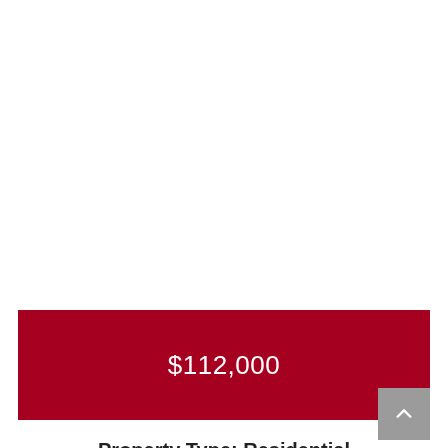$112,000
Property Type: Residential